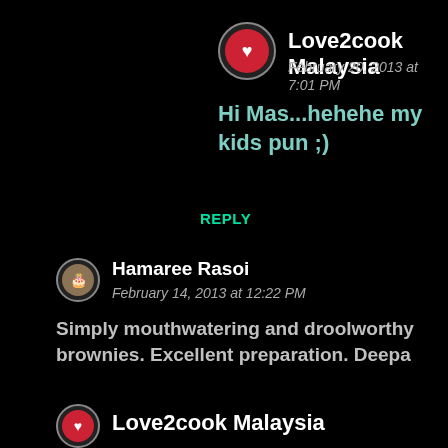[Figure (photo): Avatar of Love2cook Malaysia - circular profile picture with red heart/cake logo]
Love2cook Malaysia
February 20, 2013 at 7:01 PM
Hi Mas...hehehe my kids pun ;)
REPLY
[Figure (photo): Avatar of Hamaree Rasoi - circular profile picture with cake/food image]
Hamaree Rasoi
February 14, 2013 at 12:22 PM
Simply mouthwatering and droolworthy brownies. Excellent preparation. Deepa
[Figure (photo): Avatar of Love2cook Malaysia - circular profile picture with red heart/cake logo]
Love2cook Malaysia